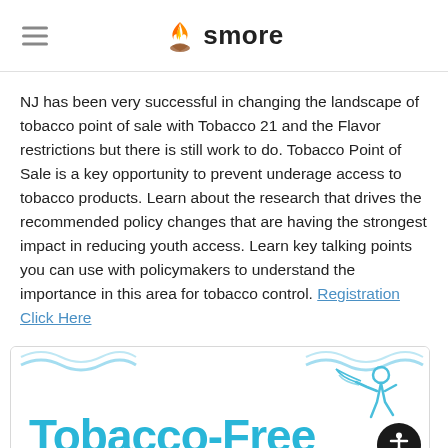smore
NJ has been very successful in changing the landscape of tobacco point of sale with Tobacco 21 and the Flavor restrictions but there is still work to do. Tobacco Point of Sale is a key opportunity to prevent underage access to tobacco products. Learn about the research that drives the recommended policy changes that are having the strongest impact in reducing youth access. Learn key talking points you can use with policymakers to understand the importance in this area for tobacco control. Registration Click Here
[Figure (logo): Tobacco-Free for a Healthy New Jersey logo with blue text and decorative figure graphic]